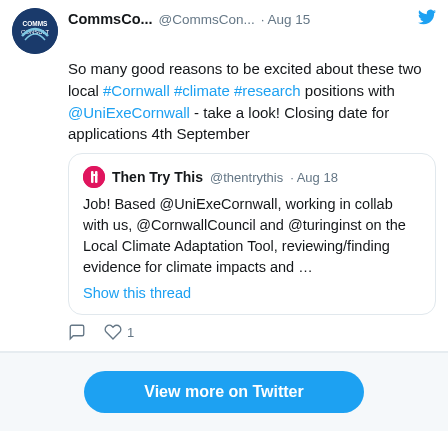[Figure (screenshot): Screenshot of a Twitter/social media widget showing a tweet by CommsCo/CommsConsult about local Cornwall climate research positions with University of Exeter Cornwall, with a quoted tweet from Then Try This about a job based at UniExeCornwall working on Local Climate Adaptation Tool, plus a 'View more on Twitter' button.]
Keep in touch